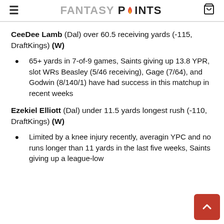FANTASY POINTS
CeeDee Lamb (Dal) over 60.5 receiving yards (-115, DraftKings) (W)
65+ yards in 7-of-9 games, Saints giving up 13.8 YPR, slot WRs Beasley (5/46 receiving), Gage (7/64), and Godwin (8/140/1) have had success in this matchup in recent weeks
Ezekiel Elliott (Dal) under 11.5 yards longest rush (-110, DraftKings) (W)
Limited by a knee injury recently, averaging YPC and no runs longer than 11 yards in the last five weeks, Saints giving up a league-low